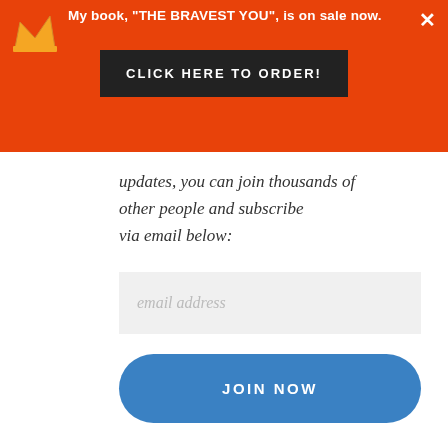My book, "THE BRAVEST YOU", is on sale now.
[Figure (other): Orange banner with crown icon, dark order button reading CLICK HERE TO ORDER!, and close X button]
updates, you can join thousands of other people and subscribe via email below:
[Figure (other): Email address input field with placeholder text 'email address']
JOIN NOW